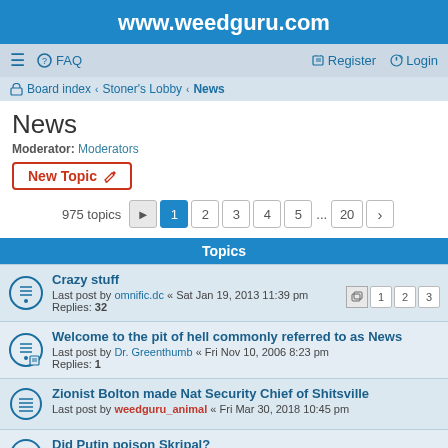www.weedguru.com
≡  FAQ    Register  Login
Board index › Stoner's Lobby › News
News
Moderator: Moderators
New Topic
975 topics  1 2 3 4 5 ... 20 ›
Topics
Crazy stuff
Last post by omnific.dc « Sat Jan 19, 2013 11:39 pm
Replies: 32
Welcome to the pit of hell commonly referred to as News
Last post by Dr. Greenthumb « Fri Nov 10, 2006 8:23 pm
Replies: 1
Zionist Bolton made Nat Security Chief of Shitsville
Last post by weedguru_animal « Fri Mar 30, 2018 10:45 pm
Did Putin poison Skripal?
Last post by weedguru_animal « Fri Mar 16, 2018 12:49 pm